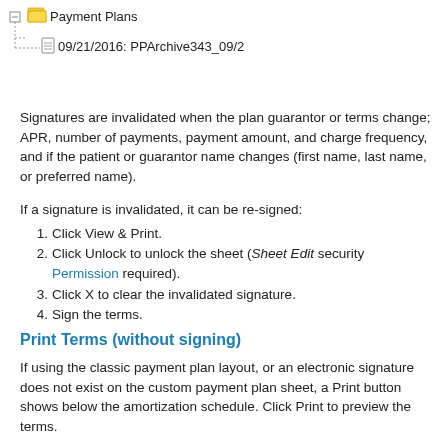[Figure (screenshot): File tree navigation showing 'Payment Plans' folder with item '09/21/2016: PPArchive343_09/2']
Signatures are invalidated when the plan guarantor or terms change; APR, number of payments, payment amount, and charge frequency, and if the patient or guarantor name changes (first name, last name, or preferred name).
If a signature is invalidated, it can be re-signed:
Click View & Print.
Click Unlock to unlock the sheet (Sheet Edit security Permission required).
Click X to clear the invalidated signature.
Sign the terms.
Print Terms (without signing)
If using the classic payment plan layout, or an electronic signature does not exist on the custom payment plan sheet, a Print button shows below the amortization schedule. Click Print to preview the terms.